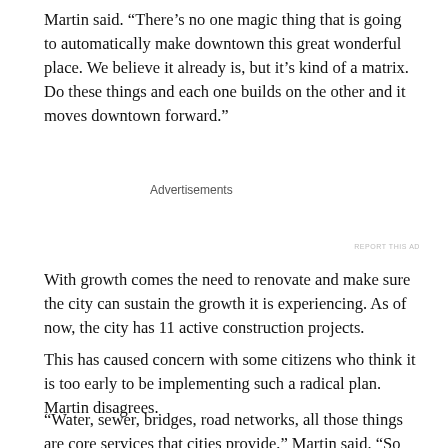Martin said. “There’s no one magic thing that is going to automatically make downtown this great wonderful place. We believe it already is, but it’s kind of a matrix. Do these things and each one builds on the other and it moves downtown forward.”
Advertisements
REPORT THIS AD
With growth comes the need to renovate and make sure the city can sustain the growth it is experiencing. As of now, the city has 11 active construction projects.
This has caused concern with some citizens who think it is too early to be implementing such a radical plan. Martin disagrees.
“Water, sewer, bridges, road networks, all those things are core services that cities provide,” Martin said. “So doesn’t it make sense that if